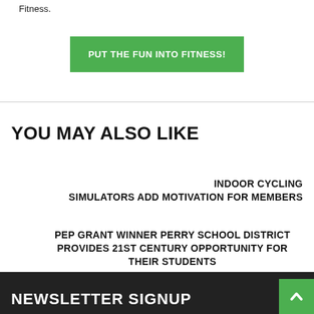Fitness.
PUT THE FUN INTO FITNESS!
YOU MAY ALSO LIKE
INDOOR CYCLING SIMULATORS ADD MOTIVATION FOR MEMBERS
PEP GRANT WINNER PERRY SCHOOL DISTRICT PROVIDES 21ST CENTURY OPPORTUNITY FOR THEIR STUDENTS
NEWSLETTER SIGNUP